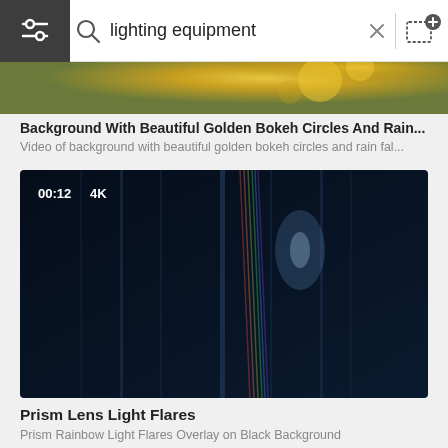lighting equipment
[Figure (screenshot): Partial golden bokeh video thumbnail with warm light and circular bokeh shapes]
Background With Beautiful Golden Bokeh Circles And Rain...
Video of background with beautiful golden bokeh circles and rain fal...
[Figure (screenshot): Dark blue prism lens light flares video thumbnail showing rainbow light streaks on black background, duration 00:12, 4K quality]
Prism Lens Light Flares
Prism Rainbow Light Flares Overlay on Black Background